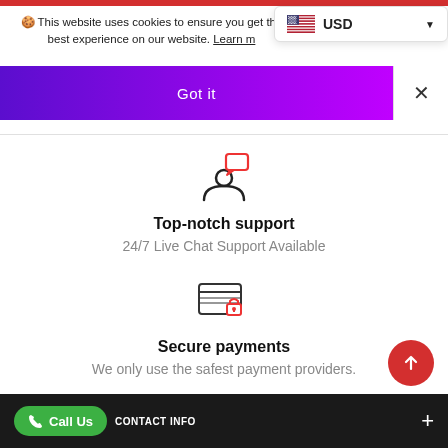🍪 This website uses cookies to ensure you get the best experience on our website. Learn more
USD
Got it
[Figure (illustration): Person with chat bubble icon (top-notch support)]
Top-notch support
24/7 Live Chat Support Available
[Figure (illustration): Secure payment card with lock icon]
Secure payments
We only use the safest payment providers.
Call Us  CONTACT INFO  +